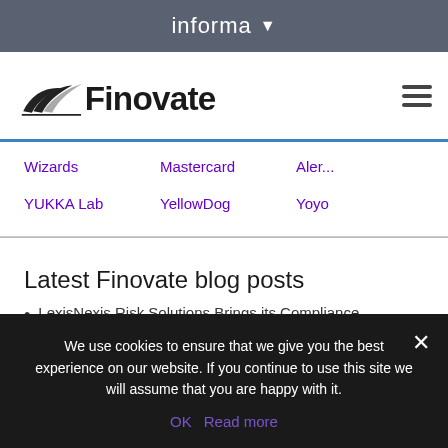informa
[Figure (logo): Finovate logo with wing-like chevron symbol]
Wizards
Mastercard
Aler...
YUKKA Lab
YellowDog
Yoyo
Latest Finovate blog posts
LexisNexis Risk Solutions Brings its Compliance
We use cookies to ensure that we give you the best experience on our website. If you continue to use this site we will assume that you are happy with it.
OK  Read more